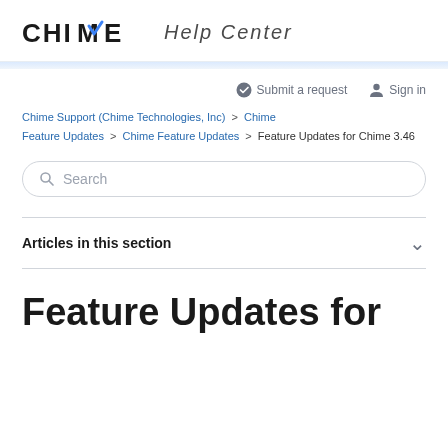CHIME Help Center
Submit a request   Sign in
Chime Support (Chime Technologies, Inc) > Chime Feature Updates > Chime Feature Updates > Feature Updates for Chime 3.46
Search
Articles in this section
Feature Updates for Chime 3.46